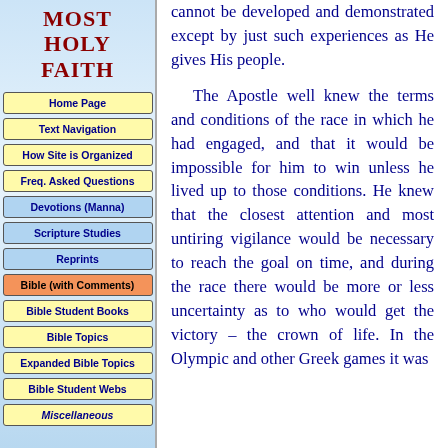MOST HOLY FAITH
Home Page
Text Navigation
How Site is Organized
Freq. Asked Questions
Devotions (Manna)
Scripture Studies
Reprints
Bible (with Comments)
Bible Student Books
Bible Topics
Expanded Bible Topics
Bible Student Webs
Miscellaneous
cannot be developed and demonstrated except by just such experiences as He gives His people.
The Apostle well knew the terms and conditions of the race in which he had engaged, and that it would be impossible for him to win unless he lived up to those conditions. He knew that the closest attention and most untiring vigilance would be necessary to reach the goal on time, and during the race there would be more or less uncertainty as to who would get the victory – the crown of life. In the Olympic and other Greek games it was